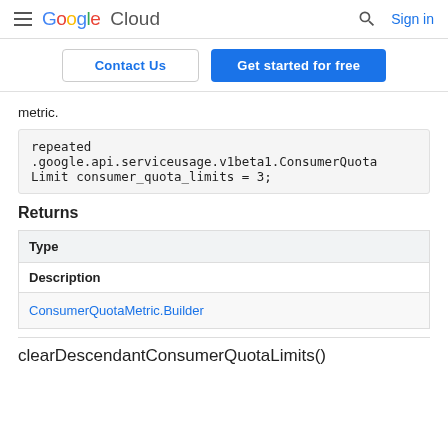Google Cloud — Search — Sign in
Contact Us | Get started for free
metric.
repeated
.google.api.serviceusage.v1beta1.ConsumerQuotaLimit consumer_quota_limits = 3;
Returns
| Type |
| --- |
| Description |
| ConsumerQuotaMetric.Builder |
clearDescendantConsumerQuotaLimits()